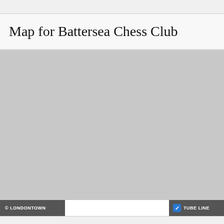Map for Battersea Chess Club
[Figure (map): A grey placeholder map area for Battersea Chess Club location]
© LONDONTOWN   TUBE LINE